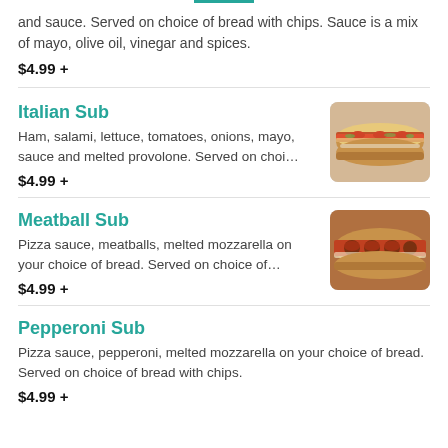and sauce. Served on choice of bread with chips. Sauce is a mix of mayo, olive oil, vinegar and spices.
$4.99 +
Italian Sub
Ham, salami, lettuce, tomatoes, onions, mayo, sauce and melted provolone. Served on choi…
$4.99 +
[Figure (photo): Photo of an Italian sub sandwich with ham, salami, lettuce, tomatoes, and provolone on a long roll]
Meatball Sub
Pizza sauce, meatballs, melted mozzarella on your choice of bread. Served on choice of…
$4.99 +
[Figure (photo): Photo of a meatball sub with marinara sauce and melted mozzarella on a hoagie roll]
Pepperoni Sub
Pizza sauce, pepperoni, melted mozzarella on your choice of bread. Served on choice of bread with chips.
$4.99 +